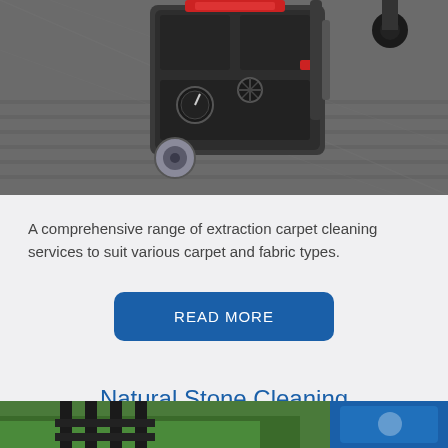[Figure (photo): A carpet cleaning extraction machine, dark grey/black colored with wheels and mechanical components, parked on a wooden floor.]
A comprehensive range of extraction carpet cleaning services to suit various carpet and fabric types.
READ MORE
Natural Stone Cleaning
[Figure (photo): Partial view of an outdoor stone cleaning scene with green grass in background and blue equipment visible.]